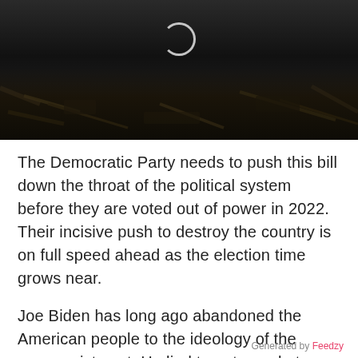[Figure (photo): Dark aerial or overhead photograph showing debris or rubble scene with a circular/ring element visible near the top center of the image]
The Democratic Party needs to push this bill down the throat of the political system before they are voted out of power in 2022. Their incisive push to destroy the country is on full speed ahead as the election time grows near.
Joe Biden has long ago abandoned the American people to the ideology of the communist east. He lied to get people to
Generated by Feedzy